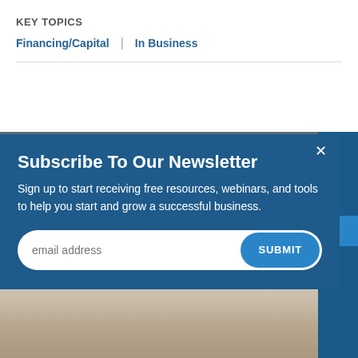KEY TOPICS
Financing/Capital | In Business
[Figure (screenshot): Newsletter subscription modal popup over a background showing a business meeting photo. The modal has a dark blue background with title 'Subscribe To Our Newsletter', descriptive text, an email input field, and a Submit button. The underlying page shows 'ory >' text visible at right.]
Subscribe To Our Newsletter
Sign up to start receiving free resources, webinars, and tools to help you start and grow a successful business.